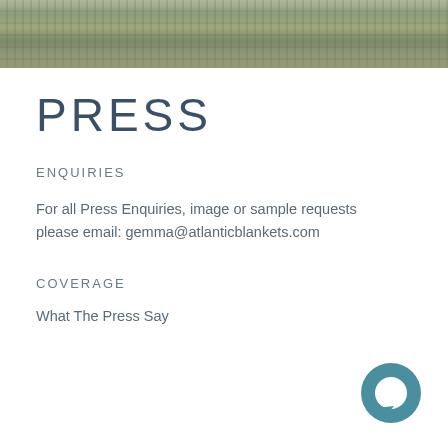[Figure (photo): Hero image of lavender or wildflower plants, blurred background, muted green-purple tones]
PRESS
ENQUIRIES
For all Press Enquiries, image or sample requests please email: gemma@atlanticblankets.com
COVERAGE
What The Press Say
[Figure (illustration): Teal circular chat bubble icon in bottom right corner]